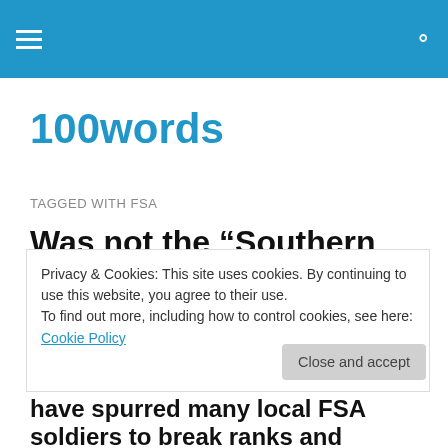100words — navigation bar with menu and search icons
100words
TAGGED WITH FSA
Was not the “Southern Front” supposed to be dominated by “moderate, pro-western”
Privacy & Cookies: This site uses cookies. By continuing to use this website, you agree to their use.
To find out more, including how to control cookies, see here: Cookie Policy
Close and accept
have spurred many local FSA soldiers to break ranks and